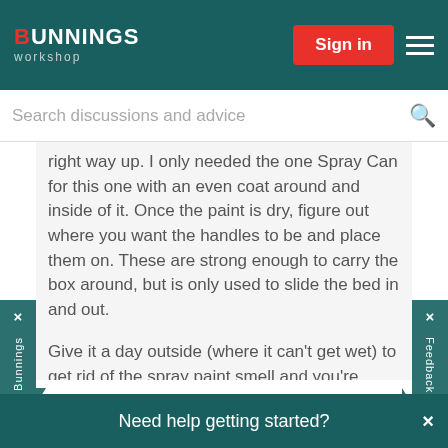BUNNINGS workshop
Search discussions and advice
right way up. I only needed the one Spray Can for this one with an even coat around and inside of it. Once the paint is dry, figure out where you want the handles to be and place them on. These are strong enough to carry the box around, but is only used to slide the bed in and out.
Give it a day outside (where it can't get wet) to get rid of the spray paint smell and you're done!
The bed itself looks great. I've used 3 memory foam pillows inside to form the dog bed (our dogs prefer these over actual dog beds) and a blanket the dogs lay down on out in our lounge room (so it has a
Need help getting started?